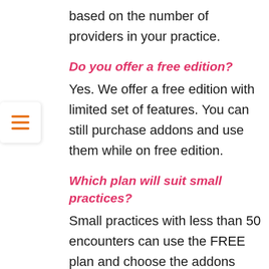based on the number of providers in your practice.
Do you offer a free edition?
Yes. We offer a free edition with limited set of features. You can still purchase addons and use them while on free edition.
Which plan will suit small practices?
Small practices with less than 50 encounters can use the FREE plan and choose the addons they need. On crossing 50 encounters/month, they will be upgraded to 'Encounter Plan' Flexi Pricing.